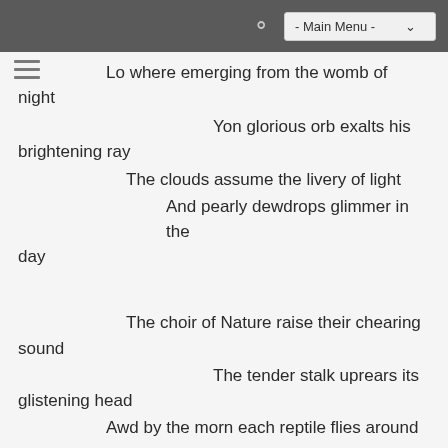- Main Menu -
Lo where emerging from the womb of night
    Yon glorious orb exalts his brightening ray
    The clouds assume the livery of light
        And pearly dewdrops glimmer in the day

    The choir of Nature raise their chearing sound
        The tender stalk uprears its glistening head
    Awd by the morn each reptile flies around
        And wolves in grim retreat go seek their secret bed.

    Yet now when Natures universal frame